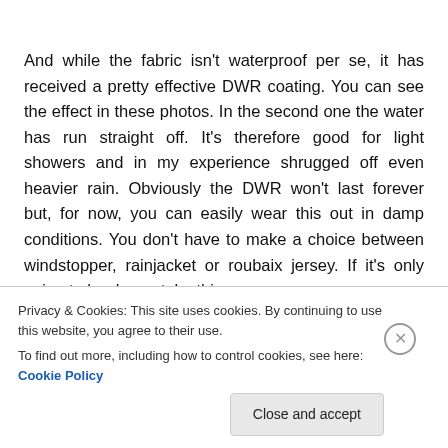And while the fabric isn't waterproof per se, it has received a pretty effective DWR coating. You can see the effect in these photos. In the second one the water has run straight off. It's therefore good for light showers and in my experience shrugged off even heavier rain. Obviously the DWR won't last forever but, for now, you can easily wear this out in damp conditions. You don't have to make a choice between windstopper, rainjacket or roubaix jersey. If it's only going to be damp, take this. To that extent, yes, we're into a new niche or a new...
Privacy & Cookies: This site uses cookies. By continuing to use this website, you agree to their use. To find out more, including how to control cookies, see here: Cookie Policy
Close and accept